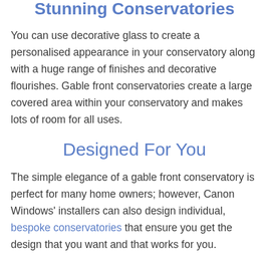Stunning Conservatories
You can use decorative glass to create a personalised appearance in your conservatory along with a huge range of finishes and decorative flourishes. Gable front conservatories create a large covered area within your conservatory and makes lots of room for all uses.
Designed For You
The simple elegance of a gable front conservatory is perfect for many home owners; however, Canon Windows' installers can also design individual, bespoke conservatories that ensure you get the design that you want and that works for you.